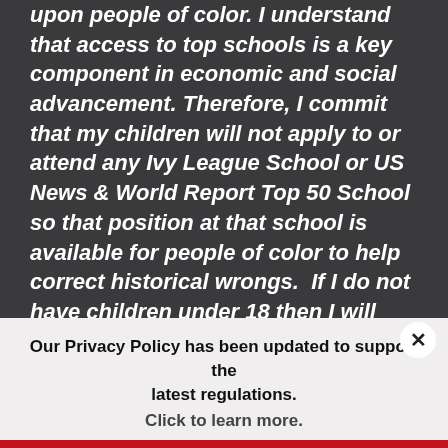upon people of color. I understand that access to top schools is a key component in economic and social advancement. Therefore, I commit that my children will not apply to or attend any Ivy League School or US News & World Report Top 50 School so that position at that school is available for people of color to help correct historical wrongs.  If I do not have children under 18 then I will commit to encouraging my white privileged friends, neighbors, and
Our Privacy Policy has been updated to support the latest regulations. Click to learn more.